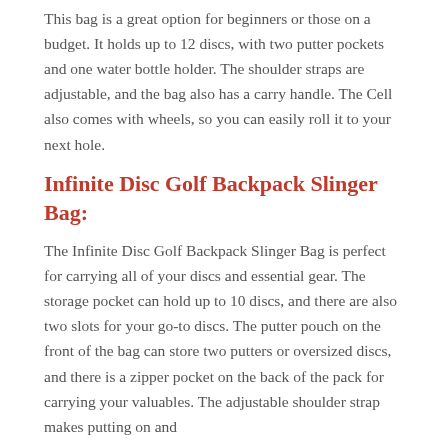This bag is a great option for beginners or those on a budget. It holds up to 12 discs, with two putter pockets and one water bottle holder. The shoulder straps are adjustable, and the bag also has a carry handle. The Cell also comes with wheels, so you can easily roll it to your next hole.
Infinite Disc Golf Backpack Slinger Bag:
The Infinite Disc Golf Backpack Slinger Bag is perfect for carrying all of your discs and essential gear. The storage pocket can hold up to 10 discs, and there are also two slots for your go-to discs. The putter pouch on the front of the bag can store two putters or oversized discs, and there is a zipper pocket on the back of the pack for carrying your valuables. The adjustable shoulder strap makes putting on and